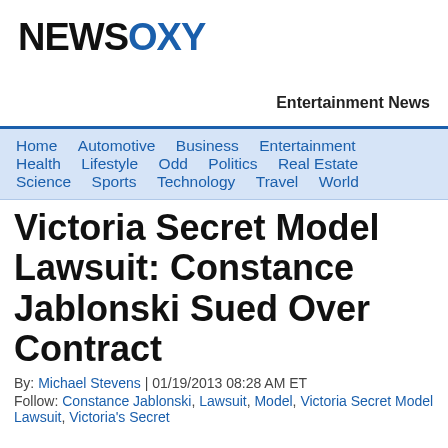NEWSOXY
Entertainment News
Home  Automotive  Business  Entertainment  Health  Lifestyle  Odd  Politics  Real Estate  Science  Sports  Technology  Travel  World
Victoria Secret Model Lawsuit: Constance Jablonski Sued Over Contract
By: Michael Stevens | 01/19/2013 08:28 AM ET
Follow: Constance Jablonski, Lawsuit, Model, Victoria Secret Model Lawsuit, Victoria's Secret